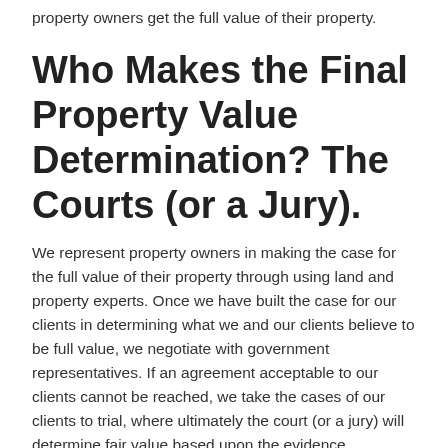property owners get the full value of their property.
Who Makes the Final Property Value Determination? The Courts (or a Jury).
We represent property owners in making the case for the full value of their property through using land and property experts. Once we have built the case for our clients in determining what we and our clients believe to be full value, we negotiate with government representatives.  If an agreement acceptable to our clients cannot be reached, we take the cases of our clients to trial, where ultimately the court (or a jury) will determine fair value based upon the evidence presented.